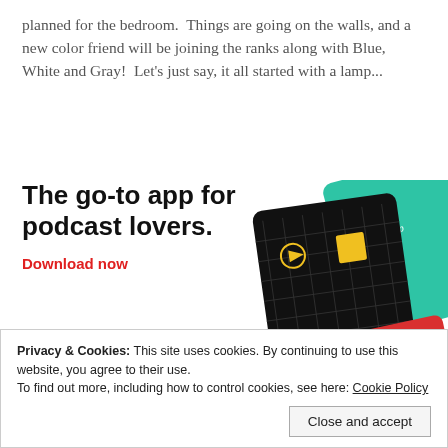planned for the bedroom. Things are going on the walls, and a new color friend will be joining the ranks along with Blue, White and Gray! Let's just say, it all started with a lamp...
[Figure (infographic): Advertisement for podcast app. Text reads 'The go-to app for podcast lovers.' with 'Download now' link in red. Shows colorful podcast app cards including one for 99% Invisible.]
Privacy & Cookies: This site uses cookies. By continuing to use this website, you agree to their use.
To find out more, including how to control cookies, see here: Cookie Policy
Close and accept
Stay tuned: